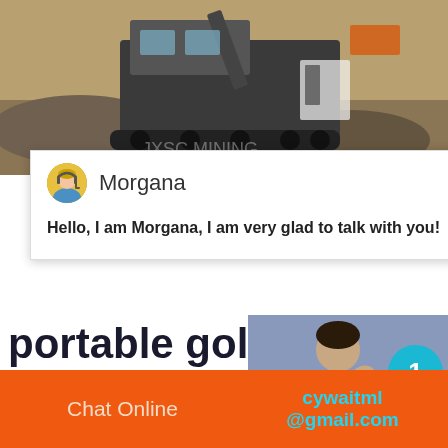[Figure (photo): Mining machinery — a large mobile crusher or processing machine on a gravel/rock site, photographed outdoors]
[Figure (screenshot): Chat popup overlay with avatar of 'Morgana', close (×) button, and greeting message]
Morgana
Hello, I am Morgana, I am very glad to talk with you!
portable gold copper ore ball mill from china ...
Ball Mill for Sale Grinding Machine - JXS... mill is the key equipment for grinding mate... grinding mills are widely used in the minin...
[Figure (photo): Customer service agent photo (person in striped shirt) with circular notification badge showing '1' and 'Click to chat' orange button and 'Enquiry' orange bar]
Chat Online   cywaitml @gmail.com